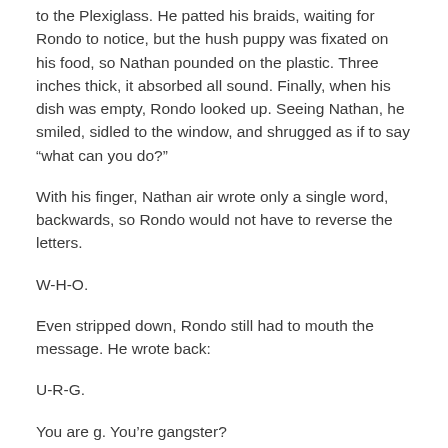to the Plexiglass. He patted his braids, waiting for Rondo to notice, but the hush puppy was fixated on his food, so Nathan pounded on the plastic.  Three inches thick, it absorbed all sound.  Finally, when his dish was empty, Rondo looked up.  Seeing Nathan, he smiled, sidled to the window, and shrugged as if to say “what can you do?”
With his finger, Nathan air wrote only a single word, backwards, so Rondo would not have to reverse the letters.
W-H-O.
Even stripped down, Rondo still had to mouth the message.  He wrote back:
U-R-G.
You are g.  You’re gangster?